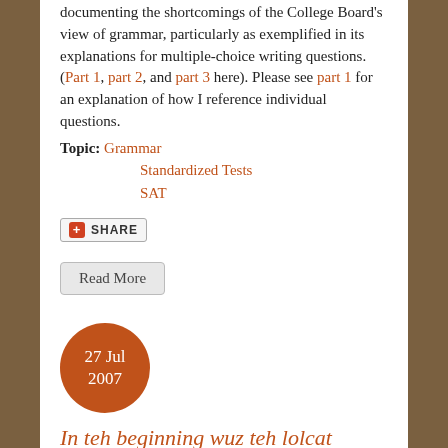documenting the shortcomings of the College Board's view of grammar, particularly as exemplified in its explanations for multiple-choice writing questions. (Part 1, part 2, and part 3 here). Please see part 1 for an explanation of how I reference individual questions.
Topic: Grammar
Standardized Tests
SAT
[Figure (other): Share button with red plus icon and SHARE label]
Read More
[Figure (other): Date bubble: 27 Jul 2007]
In teh beginning wuz teh lolcat
Submitted by Karl Hagen